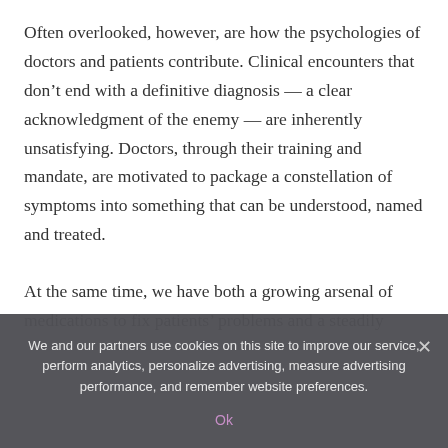Often overlooked, however, are how the psychologies of doctors and patients contribute. Clinical encounters that don't end with a definitive diagnosis — a clear acknowledgment of the enemy — are inherently unsatisfying. Doctors, through their training and mandate, are motivated to package a constellation of symptoms into something that can be understood, named and treated.
At the same time, we have both a growing arsenal of medications to fix patients' problems and a steadily
We and our partners use cookies on this site to improve our service, perform analytics, personalize advertising, measure advertising performance, and remember website preferences.
Ok